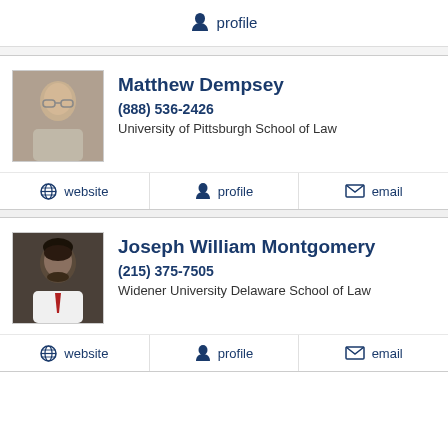profile
Matthew Dempsey
(888) 536-2426
University of Pittsburgh School of Law
website | profile | email
Joseph William Montgomery
(215) 375-7505
Widener University Delaware School of Law
website | profile | email